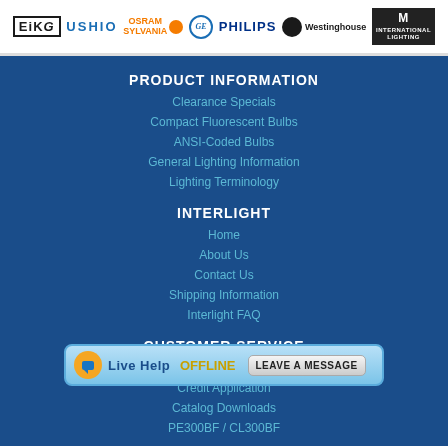[Figure (logo): Brand logos row: EiKo, USHIO, OSRAM SYLVANIA, GE, PHILIPS, Westinghouse, International Lighting]
PRODUCT INFORMATION
Clearance Specials
Compact Fluorescent Bulbs
ANSI-Coded Bulbs
General Lighting Information
Lighting Terminology
INTERLIGHT
Home
About Us
Contact Us
Shipping Information
Interlight FAQ
CUSTOMER SERVICE
High-...
Credit Application
Catalog Downloads
PE300BF / CL300BF
[Figure (screenshot): Live Help OFFLINE - LEAVE A MESSAGE overlay widget]